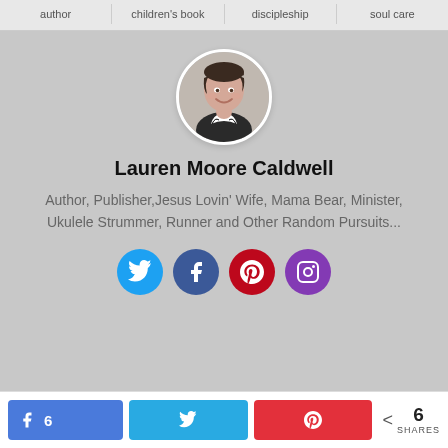author | children's book | discipleship | soul care
[Figure (photo): Circular portrait photo of Lauren Moore Caldwell, a woman with short dark hair, smiling, wearing a patterned top]
Lauren Moore Caldwell
Author, Publisher,Jesus Lovin' Wife, Mama Bear, Minister, Ukulele Strummer, Runner and Other Random Pursuits...
[Figure (infographic): Social media icon buttons: Twitter (blue), Facebook (dark blue), Pinterest (red), Instagram (purple)]
6  [share buttons: Facebook 6, Twitter, Pinterest]  < 6 SHARES